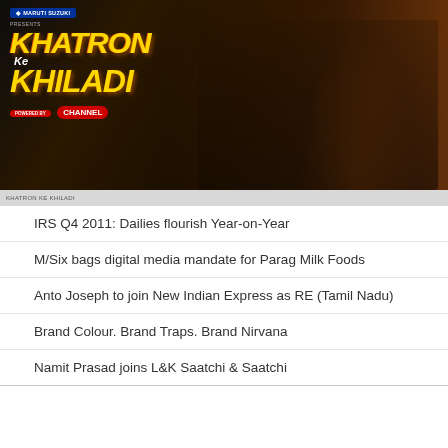[Figure (photo): Khatron Ke Khiladi TV show banner with logo and cast members in action poses against dark smoky background, sponsored by Maruti Suzuki]
IRS Q4 2011: Dailies flourish Year-on-Year
M/Six bags digital media mandate for Parag Milk Foods
Anto Joseph to join New Indian Express as RE (Tamil Nadu)
Brand Colour. Brand Traps. Brand Nirvana
Namit Prasad joins L&K Saatchi & Saatchi
POST A COMMENT
Comments are closed.